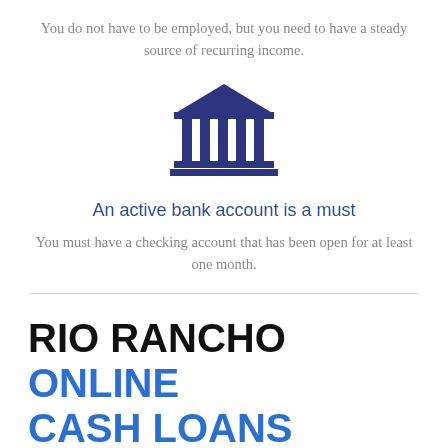You do not have to be employed, but you need to have a steady source of recurring income.
[Figure (illustration): Dark blue bank/institution building icon with columns and a triangular roof]
An active bank account is a must
You must have a checking account that has been open for at least one month.
RIO RANCHO ONLINE CASH LOANS
Did you know that you can still have an access to short term funds even if you have a poor credit history? Normally, personal